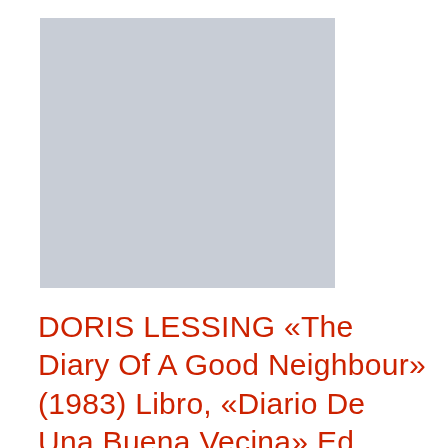[Figure (illustration): Gray rectangular placeholder image representing a book cover]
DORIS LESSING «The Diary Of A Good Neighbour» (1983) Libro, «Diario De Una Buena Vecina» Ed. Punto De Lectura, 2007